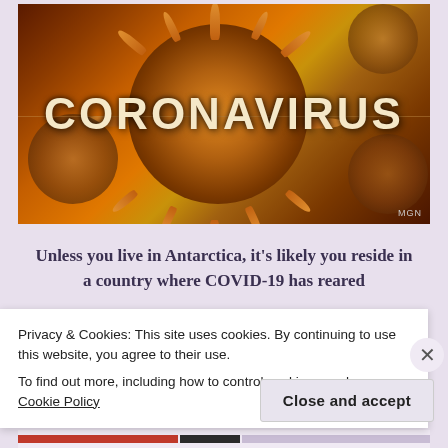[Figure (photo): Close-up microscopic rendering of a coronavirus particle with spikes, golden-orange color on dark red background, with 'CORONAVIRUS' text overlaid in large bold letters. MGN watermark in bottom right corner.]
Unless you live in Antarctica, it's likely you reside in a country where COVID-19 has reared
Privacy & Cookies: This site uses cookies. By continuing to use this website, you agree to their use.
To find out more, including how to control cookies, see here: Cookie Policy
Close and accept